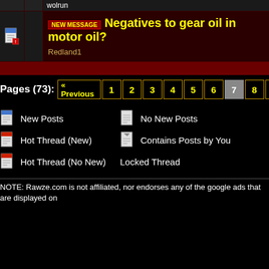wolrun
NEW MESSAGE Negatives to gear oil in motor oil? — Redland1
Pages (73): « Previous 1 2 3 4 5 6 7 8 9 10 11
New Posts | No New Posts | Hot Thread (New) | Contains Posts by You | Hot Thread (No New) | Locked Thread
NOTE: Rawze.com is not affiliated, nor endorses any of the google ads that are displayed on